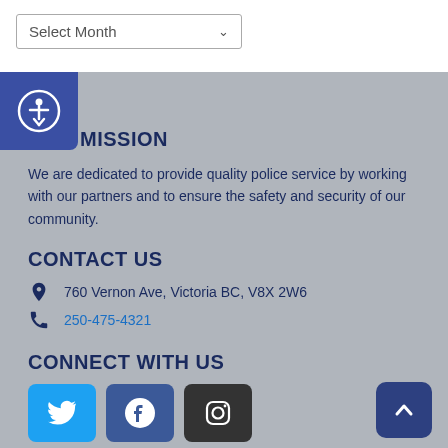[Figure (screenshot): Select Month dropdown widget]
[Figure (illustration): Accessibility icon button - blue square with person in circle]
OUR MISSION
We are dedicated to provide quality police service by working with our partners and to ensure the safety and security of our community.
CONTACT US
760 Vernon Ave, Victoria BC, V8X 2W6
250-475-4321
CONNECT WITH US
[Figure (logo): Social media icons: Twitter (blue), Facebook (dark blue), Instagram (dark/black)]